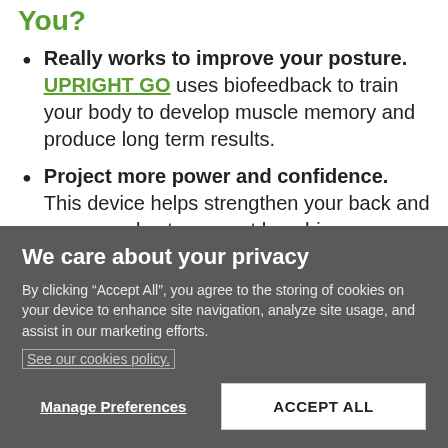You?
Really works to improve your posture. UPRIGHT GO uses biofeedback to train your body to develop muscle memory and produce long term results.
Project more power and confidence. This device helps strengthen your back and core muscles to prevent hunching over, while relieving tension that can cause pain and
We care about your privacy
By clicking “Accept All”, you agree to the storing of cookies on your device to enhance site navigation, analyze site usage, and assist in our marketing efforts.
See our cookies policy.
Manage Preferences
ACCEPT ALL